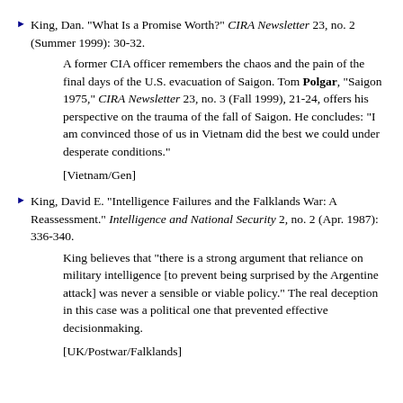King, Dan. "What Is a Promise Worth?" CIRA Newsletter 23, no. 2 (Summer 1999): 30-32.
A former CIA officer remembers the chaos and the pain of the final days of the U.S. evacuation of Saigon. Tom Polgar, "Saigon 1975," CIRA Newsletter 23, no. 3 (Fall 1999), 21-24, offers his perspective on the trauma of the fall of Saigon. He concludes: "I am convinced those of us in Vietnam did the best we could under desperate conditions."
[Vietnam/Gen]
King, David E. "Intelligence Failures and the Falklands War: A Reassessment." Intelligence and National Security 2, no. 2 (Apr. 1987): 336-340.
King believes that "there is a strong argument that reliance on military intelligence [to prevent being surprised by the Argentine attack] was never a sensible or viable policy." The real deception in this case was a political one that prevented effective decisionmaking.
[UK/Postwar/Falklands]